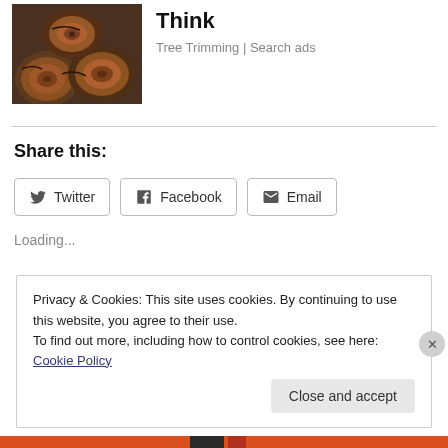[Figure (photo): Stack of cut logs shown from the end, brownish-orange bark, outdoor setting]
Think
Tree Trimming | Search ads
Share this:
Twitter   Facebook   Email
Loading...
Privacy & Cookies: This site uses cookies. By continuing to use this website, you agree to their use.
To find out more, including how to control cookies, see here: Cookie Policy
Close and accept